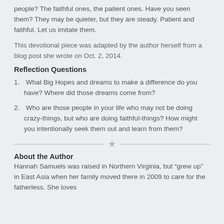people? The faithful ones, the patient ones. Have you seen them? They may be quieter, but they are steady. Patient and faithful. Let us imitate them.
This devotional piece was adapted by the author herself from a blog post she wrote on Oct. 2, 2014.
Reflection Questions
1. What Big Hopes and dreams to make a difference do you have? Where did those dreams come from?
2. Who are those people in your life who may not be doing crazy-things, but who are doing faithful-things? How might you intentionally seek them out and learn from them?
About the Author
Hannah Samuels was raised in Northern Virginia, but "grew up" in East Asia when her family moved there in 2009 to care for the fatherless. She loves